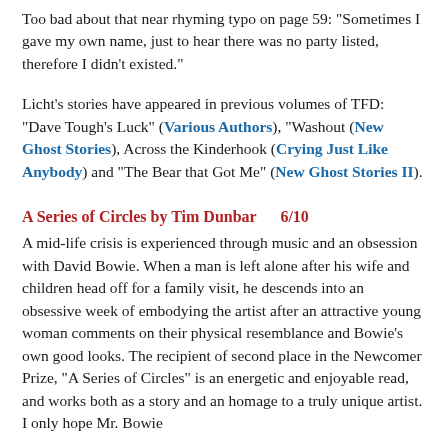Too bad about that near rhyming typo on page 59: "Sometimes I gave my own name, just to hear there was no party listed, therefore I didn't existed."
Licht's stories have appeared in previous volumes of TFD: "Dave Tough's Luck" (Various Authors), "Washout (New Ghost Stories), Across the Kinderhook (Crying Just Like Anybody) and "The Bear that Got Me" (New Ghost Stories II).
A Series of Circles by Tim Dunbar     6/10
A mid-life crisis is experienced through music and an obsession with David Bowie. When a man is left alone after his wife and children head off for a family visit, he descends into an obsessive week of embodying the artist after an attractive young woman comments on their physical resemblance and Bowie's own good looks. The recipient of second place in the Newcomer Prize, "A Series of Circles" is an energetic and enjoyable read, and works both as a story and an homage to a truly unique artist. I only hope Mr. Bowie